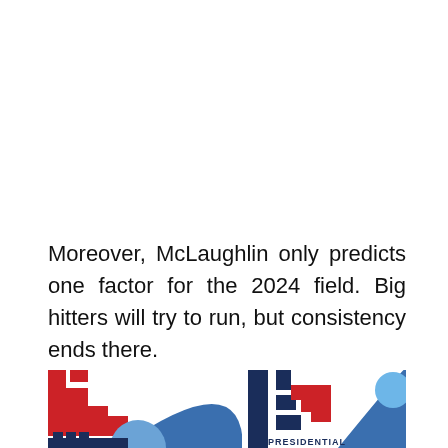Moreover, McLaughlin only predicts one factor for the 2024 field. Big hitters will try to run, but consistency ends there.
[Figure (illustration): Partial view of two red, white, and blue geometric presidential campaign logos with 'PRESIDENTIAL' text visible at the bottom right]